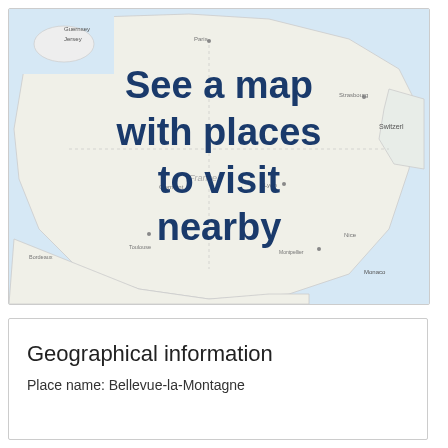[Figure (map): A map of France and surrounding regions (Guernsey, Jersey, Luxembourg, Switzerland, Monaco visible) with text overlay reading 'See a map with places to visit nearby']
Geographical information
Place name: Bellevue-la-Montagne